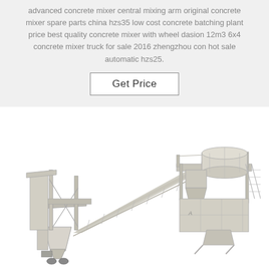advanced concrete mixer central mixing arm original concrete mixer spare parts china hzs35 low cost concrete batching plant price best quality concrete mixer with wheel dasion 12m3 6x4 concrete mixer truck for sale 2016 zhengzhou con hot sale automatic hzs25.
Get Price
[Figure (photo): Photograph of a concrete batching plant / mobile mixing plant with conveyor belt, aggregate storage hoppers, and mixing drum unit, shown against a white background.]